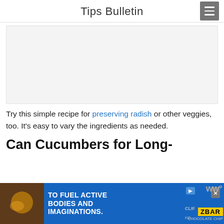Tips Bulletin
[Figure (other): Gray advertisement placeholder box]
Try this simple recipe for preserving radish or other veggies, too. It's easy to vary the ingredients as needed.
Can Cucumbers for Long-
[Figure (other): Advertisement banner: TO FUEL ACTIVE BODIES AND IMAGINATIONS. CLIF KID ZBAR chocolate chip product ad]